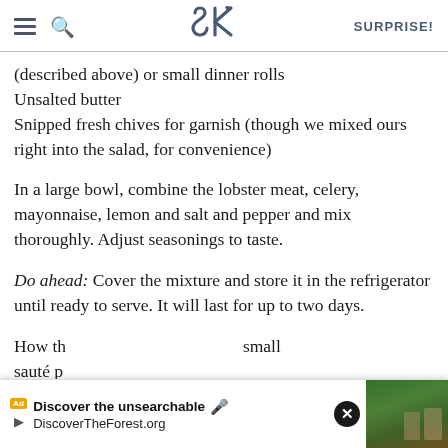SK — SURPRISE!
(described above) or small dinner rolls
Unsalted butter
Snipped fresh chives for garnish (though we mixed ours right into the salad, for convenience)
In a large bowl, combine the lobster meat, celery, mayonnaise, lemon and salt and pepper and mix thoroughly. Adjust seasonings to taste.
Do ahead: Cover the mixture and store it in the refrigerator until ready to serve. It will last for up to two days.
How th… small sauté p…
[Figure (screenshot): Advertisement overlay: 'Discover the unsearchable' / DiscoverTheForest.org with close button and forest image]